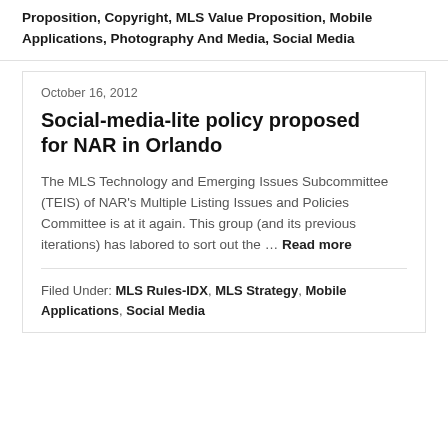Proposition, Copyright, MLS Value Proposition, Mobile Applications, Photography And Media, Social Media
October 16, 2012
Social-media-lite policy proposed for NAR in Orlando
The MLS Technology and Emerging Issues Subcommittee (TEIS) of NAR's Multiple Listing Issues and Policies Committee is at it again. This group (and its previous iterations) has labored to sort out the … Read more
Filed Under: MLS Rules-IDX, MLS Strategy, Mobile Applications, Social Media